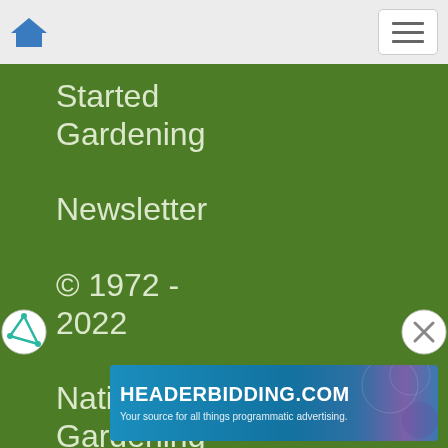Home | Menu
Started Gardening Newsletter
© 1972 - 2022 National Gardening Association
Times are
pre... US... Standard
[Figure (screenshot): HEADERBIDDING.COM advertisement banner — Your source for all things programmatic advertising.]